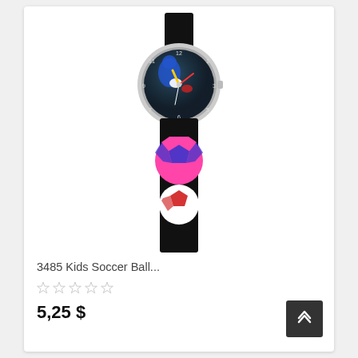[Figure (photo): A kids soccer ball wristwatch with a black band decorated with colorful soccer balls (pink, blue, red). The watch face is dark/black with numbers and hands, housed in a silver bezel.]
3485 Kids Soccer Ball...
5,25 $